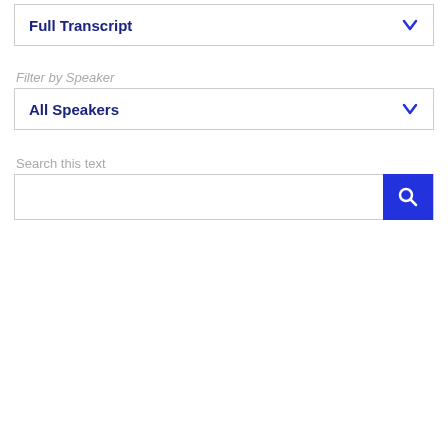Full Transcript
Filter by Speaker
All Speakers
Search this text